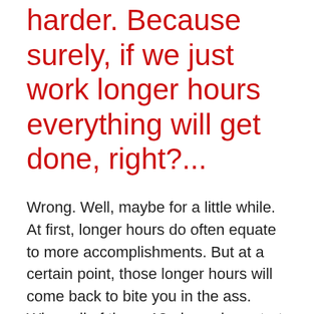harder. Because surely, if we just work longer hours everything will get done, right?...
Wrong. Well, maybe for a little while. At first, longer hours do often equate to more accomplishments. But at a certain point, those longer hours will come back to bite you in the ass. When all of those 12+ hour days start to catch up to you, you become less and less effective, and your business becomes less and less profitable. This goes for CEOs and for team members.